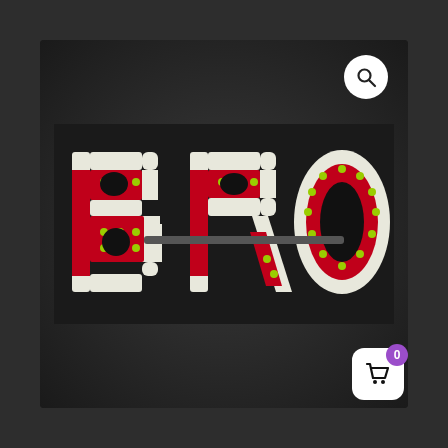[Figure (photo): Floral tribute spelling 'BRO' made from red and white flowers (chrysanthemums) with yellow centers, arranged in block letters on a dark/black background. The letters B, R, and O are formed with white flower outlines and red flower fills. A search icon (magnifying glass in white circle) appears in the top right corner. A shopping cart icon with a purple badge showing '0' appears in the bottom right corner.]